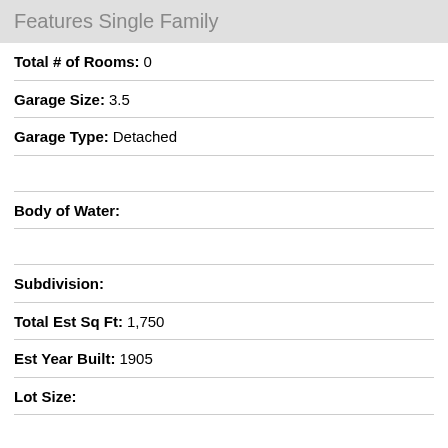Features Single Family
Total # of Rooms: 0
Garage Size: 3.5
Garage Type: Detached
Body of Water:
Subdivision:
Total Est Sq Ft: 1,750
Est Year Built: 1905
Lot Size:
School District: Waukesha
High School:
Middle School: